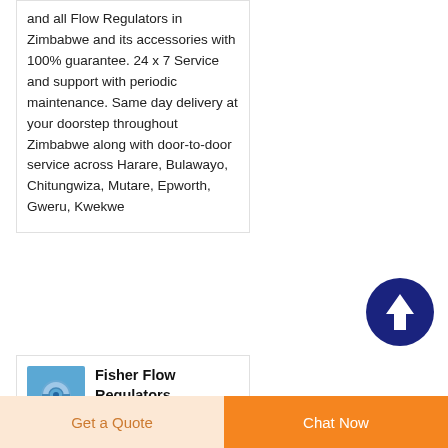and all Flow Regulators in Zimbabwe and its accessories with 100% guarantee. 24 x 7 Service and support with periodic maintenance. Same day delivery at your doorstep throughout Zimbabwe along with door-to-door service across Harare, Bulawayo, Chitungwiza, Mutare, Epworth, Gweru, Kwekwe
[Figure (other): Blue circular scroll-to-top button with upward arrow icon]
[Figure (photo): Small thumbnail image with blue background showing a flow regulator product]
Fisher Flow Regulators Instrumart
Fisher & Emerson High...
Get a Quote
Chat Now